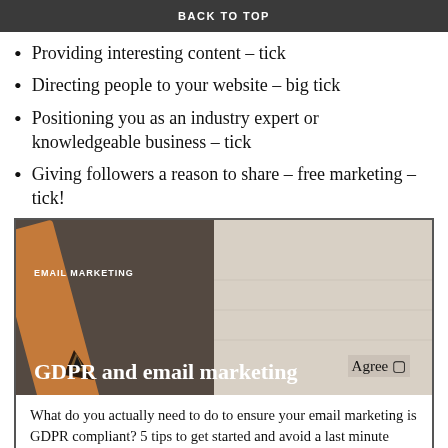BACK TO TOP
Providing interesting content – tick
Directing people to your website – big tick
Positioning you as an industry expert or knowledgeable business – tick
Giving followers a reason to share – free marketing – tick!
[Figure (photo): Close-up photo of a pencil tip on paper with text 'EMAIL MARKETING' and large heading 'GDPR and email marketing' overlaid in white, plus 'Agree □' text on the right side of the image]
What do you actually need to do to ensure your email marketing is GDPR compliant? 5 tips to get started and avoid a last minute panic in May!